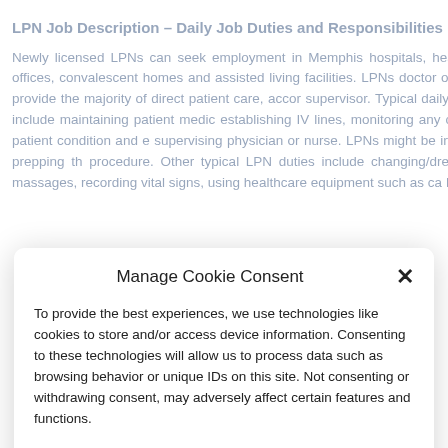LPN Job Description – Daily Job Duties and Responsibilities
Newly licensed LPNs can seek employment in Memphis hospitals, health dental offices, convalescent homes and assisted living facilities. LPNs doctor or R.N. and provide the majority of direct patient care, accor supervisor. Typical daily job duties include maintaining patient medic establishing IV lines, monitoring any changes in patient condition and supervising physician or nurse. LPNs might be in charge of prepping th procedure. Other typical LPN duties include changing/dressing wou massages, recording vital signs, using healthcare equipment such as ca IV therapy.
Manage Cookie Consent
To provide the best experiences, we use technologies like cookies to store and/or access device information. Consenting to these technologies will allow us to process data such as browsing behavior or unique IDs on this site. Not consenting or withdrawing consent, may adversely affect certain features and functions.
Accept
Privacy Policy